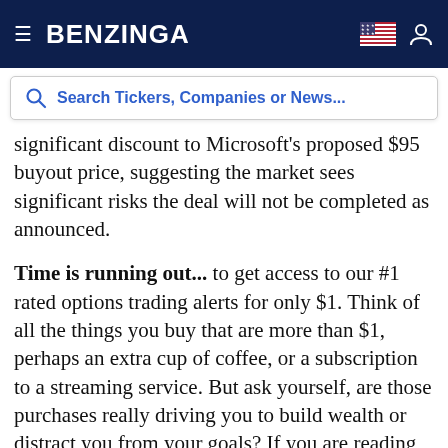BENZINGA
significant discount to Microsoft's proposed $95 buyout price, suggesting the market sees significant risks the deal will not be completed as announced.
Time is running out... to get access to our #1 rated options trading alerts for only $1. Think of all the things you buy that are more than $1, perhaps an extra cup of coffee, or a subscription to a streaming service. But ask yourself, are those purchases really driving you to build wealth or distract you from your goals? If you are reading this then you are most likely interested in earning more to secure your financial future for your family. Click Here to Start getting Real-time Option...